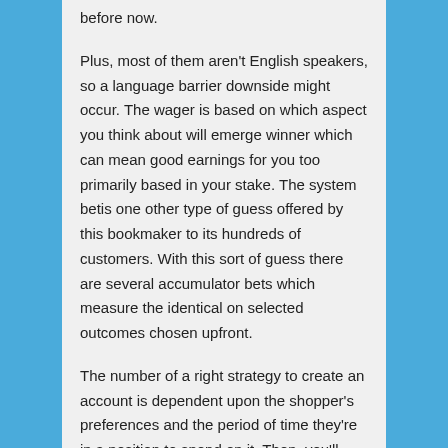before now.
Plus, most of them aren't English speakers, so a language barrier downside might occur. The wager is based on which aspect you think about will emerge winner which can mean good earnings for you too primarily based in your stake. The system betis one other type of guess offered by this bookmaker to its hundreds of customers. With this sort of guess there are several accumulator bets which measure the identical on selected outcomes chosen upfront.
The number of a right strategy to create an account is dependent upon the shopper's preferences and the period of time they're in a position to spend on it. Then, you'll should fill within the